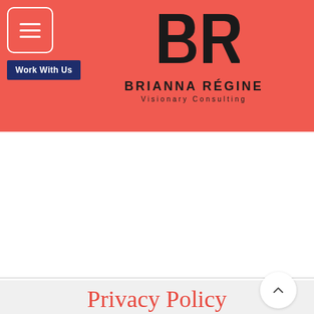[Figure (logo): Brianna Régine Visionary Consulting logo on coral/red banner background with hamburger menu button and 'Work With Us' navy button. BR monogram in large stylized text, company name and tagline below.]
Privacy Policy